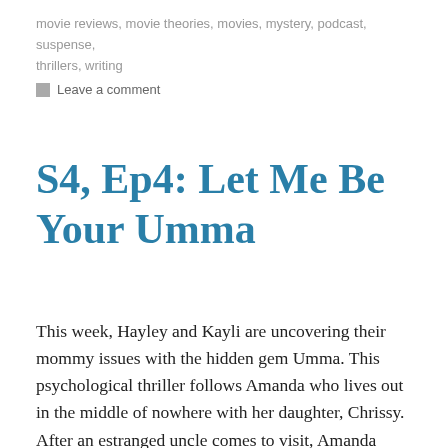movie reviews, movie theories, movies, mystery, podcast, suspense, thrillers, writing
Leave a comment
S4, Ep4: Let Me Be Your Umma
This week, Hayley and Kayli are uncovering their mommy issues with the hidden gem Umma. This psychological thriller follows Amanda who lives out in the middle of nowhere with her daughter, Chrissy. After an estranged uncle comes to visit, Amanda learns that her mother has passed away. In the wake of this news, Amanda becomes